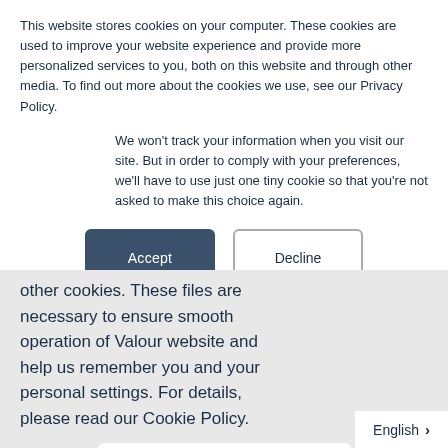This website stores cookies on your computer. These cookies are used to improve your website experience and provide more personalized services to you, both on this website and through other media. To find out more about the cookies we use, see our Privacy Policy.
We won't track your information when you visit our site. But in order to comply with your preferences, we'll have to use just one tiny cookie so that you're not asked to make this choice again.
other cookies. These files are necessary to ensure smooth operation of Valour website and help us remember you and your personal settings. For details, please read our Cookie Policy.
Accept
English >